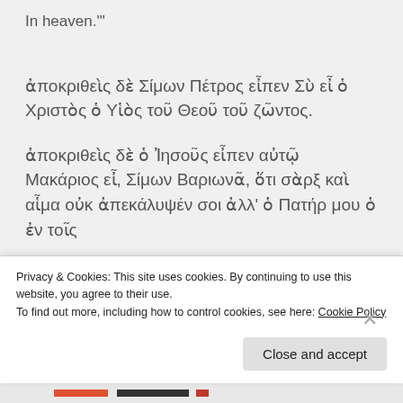In heaven."'
ἀποκριθεὶς δὲ Σίμων Πέτρος εἶπεν Σὺ εἶ ὁ Χριστὸς ὁ Υἱὸς τοῦ Θεοῦ τοῦ ζῶντος.
ἀποκριθεὶς δὲ ὁ Ἰησοῦς εἶπεν αὐτῷ Μακάριος εἶ, Σίμων Βαριωνᾶ, ὅτι σὰρξ καὶ αἷμα οὐκ ἀπεκάλυψέν σοι ἀλλ' ὁ Πατήρ μου ὁ ἐν τοῖς
Privacy & Cookies: This site uses cookies. By continuing to use this website, you agree to their use.
To find out more, including how to control cookies, see here: Cookie Policy